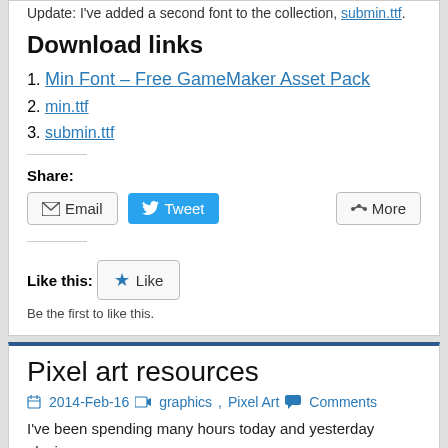Update: I've added a second font to the collection, submin.ttf.
Download links
Min Font – Free GameMaker Asset Pack
min.ttf
submin.ttf
Share:
Email  Tweet  More
Like this:
Like
Be the first to like this.
Pixel art resources
2014-Feb-16  graphics, Pixel Art  Comments
I've been spending many hours today and yesterday playing